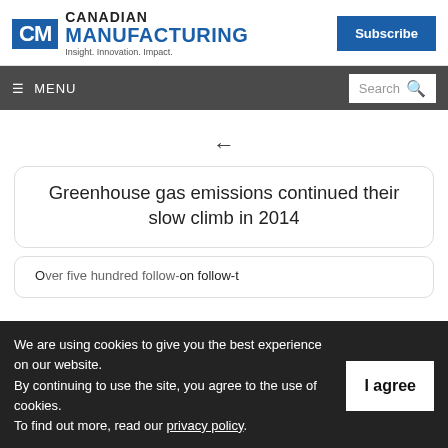Canadian Manufacturing — Insight. Innovation. Impact.
Greenhouse gas emissions continued their slow climb in 2014
We are using cookies to give you the best experience on our website. By continuing to use the site, you agree to the use of cookies. To find out more, read our privacy policy.